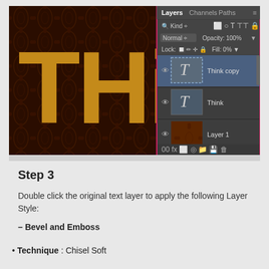[Figure (screenshot): Photoshop workspace showing text 'THi' in golden/brown color on dark damask background, with Layers panel open showing 'Think copy', 'Think', and 'Layer 1' layers. Panel has Normal blend mode, 100% Opacity, 0% Fill settings.]
Step 3
Double click the original text layer to apply the following Layer Style:
– Bevel and Emboss
Technique : Chisel Soft